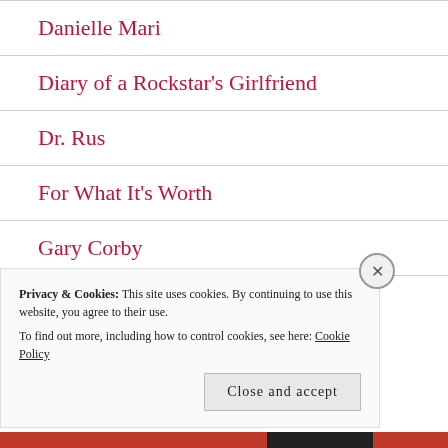Danielle Mari
Diary of a Rockstar's Girlfriend
Dr. Rus
For What It's Worth
Gary Corby
HC Palmquist
Privacy & Cookies: This site uses cookies. By continuing to use this website, you agree to their use. To find out more, including how to control cookies, see here: Cookie Policy
Close and accept